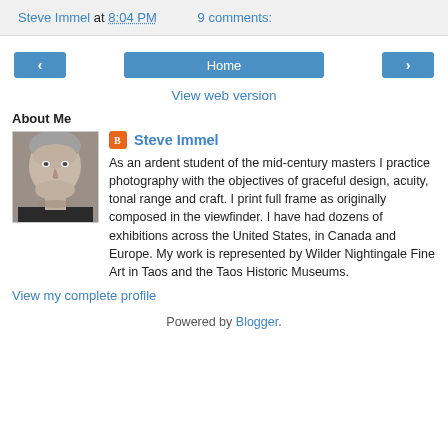Steve Immel at 8:04 PM   9 comments:
< Home >
View web version
About Me
[Figure (photo): Profile photo of Steve Immel, an older man with gray hair]
Steve Immel
As an ardent student of the mid-century masters I practice photography with the objectives of graceful design, acuity, tonal range and craft. I print full frame as originally composed in the viewfinder. I have had dozens of exhibitions across the United States, in Canada and Europe. My work is represented by Wilder Nightingale Fine Art in Taos and the Taos Historic Museums.
View my complete profile
Powered by Blogger.